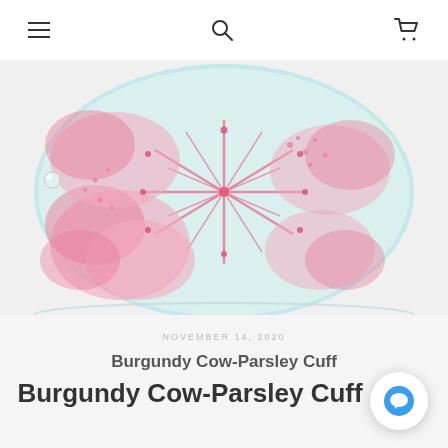Navigation bar with hamburger menu, search, and cart icons
[Figure (photo): Close-up photo of a Burgundy Cow-Parsley Cuff bracelet — pink floral botanical pattern on a light blue/teal cylindrical glass or resin surface, photographed against a white background.]
NOVEMBER 14, 2020
Burgundy Cow-Parsley Cuff
Burgundy Cow-Parsley Cuff